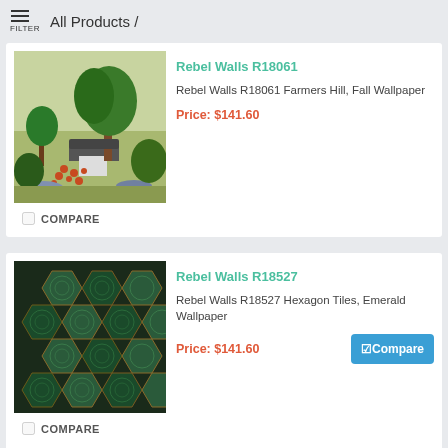All Products /
[Figure (photo): Wallpaper product photo showing a pastoral farm scene with trees, buildings, and harvest items - Rebel Walls R18061 Farmers Hill Fall Wallpaper]
Rebel Walls R18061
Rebel Walls R18061 Farmers Hill, Fall Wallpaper
Price: $141.60
COMPARE
[Figure (photo): Wallpaper product photo showing dark green hexagon tiles pattern - Rebel Walls R18527 Hexagon Tiles Emerald Wallpaper]
Rebel Walls R18527
Rebel Walls R18527 Hexagon Tiles, Emerald Wallpaper
Price: $141.60
Compare
COMPARE